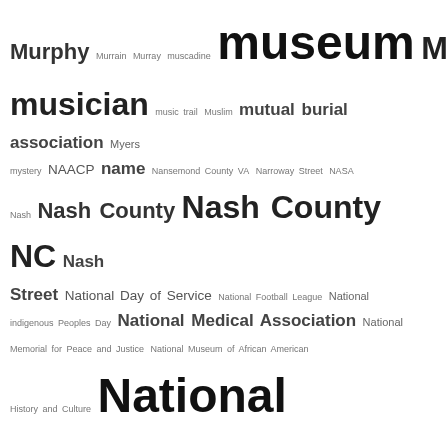Murphy Murrain Murray muscadine museum Music musician music trail Muslim mutual burial association Myers mystery NAACP name Nansemond County VA Narroway Street NASA Nash Nash County Nash County NC Nash Street National Day of Service National Football League National indigenous Peoples Day National Medical Association National Memorial for Peace and Justice National Museum of African American History and Culture National Register of Historic Places National Trust for Historic Preservation National Youth Administration Native American native fern Native Hawaiian native plant natural causes naturalization Navy Neal Negro Business League Negro goods Negro League Negro Leagues Negro Library Negro Motorist Green Book Negro State Bar Association neighbor neighborhood Nelson New Bern NC New Bern Street newborn New Deal Newell New Grabneck New Guinea New Jersey New Orleans news carrier newsletter Newsom Newsome New South Associates newspaper newspaper reporter New Vester Baptist Church New Year New Years Day